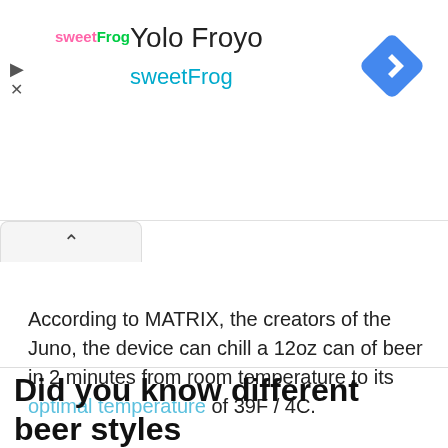[Figure (screenshot): Ad banner for Yolo Froyo sweetFrog with logo, title, subtitle, and blue navigation diamond icon]
According to MATRIX, the creators of the Juno, the device can chill a 12oz can of beer in 2 minutes from room temperature to its optimal temperature of 39F / 4C.
Did you know different beer styles